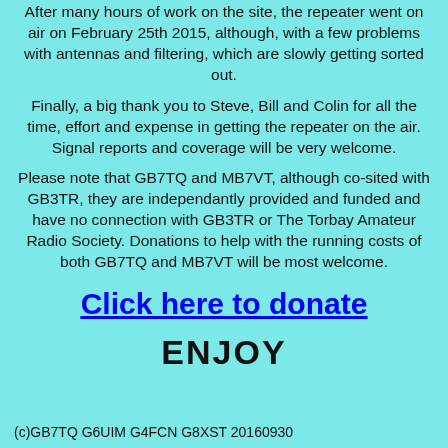After many hours of work on the site, the repeater went on air on February 25th 2015, although, with a few problems with antennas and filtering, which are slowly getting sorted out.
Finally, a big thank you to Steve, Bill and Colin for all the time, effort and expense in getting the repeater on the air. Signal reports and coverage will be very welcome.
Please note that GB7TQ and MB7VT, although co-sited with GB3TR, they are independantly provided and funded and have no connection with GB3TR or The Torbay Amateur Radio Society. Donations to help with the running costs of both GB7TQ and MB7VT will be most welcome.
Click here to donate
ENJOY
(c)GB7TQ G6UIM G4FCN G8XST 20160930